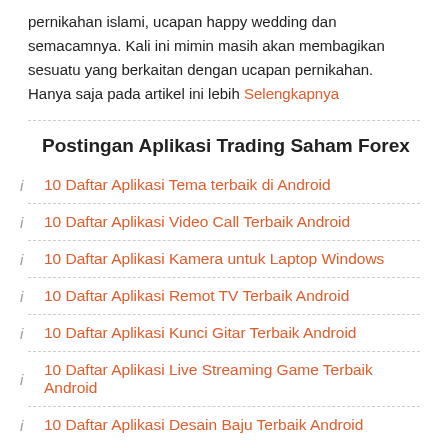pernikahan islami, ucapan happy wedding dan semacamnya. Kali ini mimin masih akan membagikan sesuatu yang berkaitan dengan ucapan pernikahan. Hanya saja pada artikel ini lebih Selengkapnya
Postingan Aplikasi Trading Saham Forex
10 Daftar Aplikasi Tema terbaik di Android
10 Daftar Aplikasi Video Call Terbaik Android
10 Daftar Aplikasi Kamera untuk Laptop Windows
10 Daftar Aplikasi Remot TV Terbaik Android
10 Daftar Aplikasi Kunci Gitar Terbaik Android
10 Daftar Aplikasi Live Streaming Game Terbaik Android
10 Daftar Aplikasi Desain Baju Terbaik Android